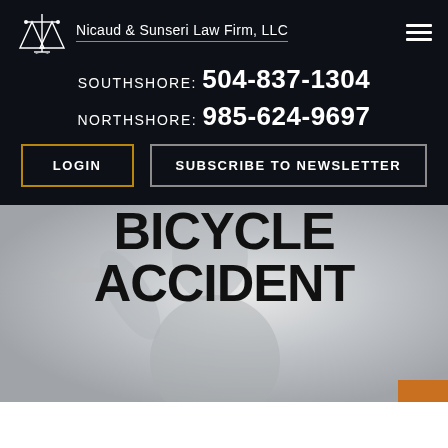Nicaud & Sunseri Law Firm, LLC
SOUTHSHORE: 504-837-1304
NORTHSHORE: 985-624-9697
LOGIN
SUBSCRIBE TO NEWSLETTER
[Figure (photo): Grayscale image of a Lady Justice statue holding scales, faded/blurred background for a law firm hero section]
BICYCLE ACCIDENT